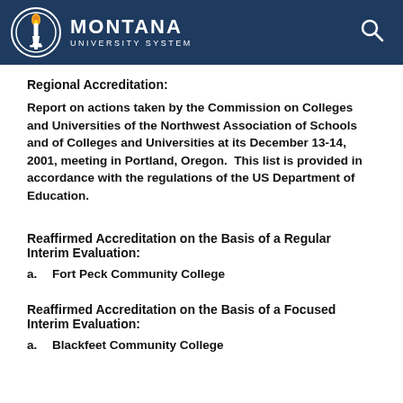[Figure (logo): Montana University System logo with torch emblem and search icon on dark blue header banner]
Regional Accreditation:
Report on actions taken by the Commission on Colleges and Universities of the Northwest Association of Schools and of Colleges and Universities at its December 13-14, 2001, meeting in Portland, Oregon. This list is provided in accordance with the regulations of the US Department of Education.
Reaffirmed Accreditation on the Basis of a Regular Interim Evaluation:
a.      Fort Peck Community College
Reaffirmed Accreditation on the Basis of a Focused Interim Evaluation:
a.      Blackfeet Community College